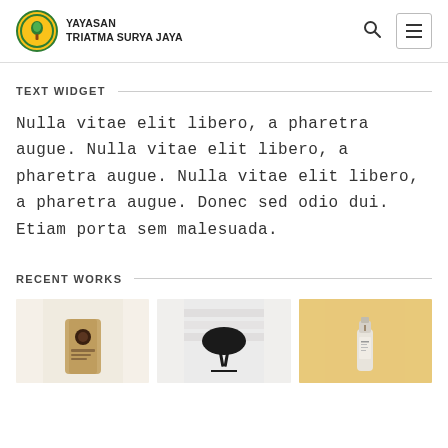YAYASAN TRIATMA SURYA JAYA
TEXT WIDGET
Nulla vitae elit libero, a pharetra augue. Nulla vitae elit libero, a pharetra augue. Nulla vitae elit libero, a pharetra augue. Donec sed odio dui. Etiam porta sem malesuada.
RECENT WORKS
[Figure (photo): Three product photos: a coffee bag, a black chair, and a bottle on orange background]